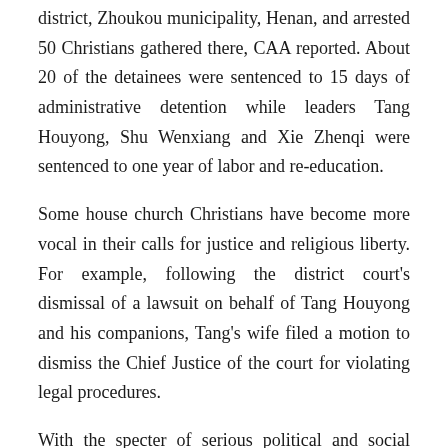district, Zhoukou municipality, Henan, and arrested 50 Christians gathered there, CAA reported. About 20 of the detainees were sentenced to 15 days of administrative detention while leaders Tang Houyong, Shu Wenxiang and Xie Zhenqi were sentenced to one year of labor and re-education.
Some house church Christians have become more vocal in their calls for justice and religious liberty. For example, following the district court's dismissal of a lawsuit on behalf of Tang Houyong and his companions, Tang's wife filed a motion to dismiss the Chief Justice of the court for violating legal procedures.
With the specter of serious political and social unrest looming before officials in the face of China's economic recession, such Christian protests could add to the government's unease over the growing number and influence of house church Christians.
Report from Compass Direct News